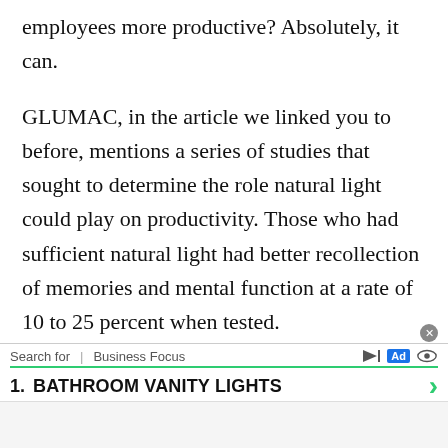employees more productive? Absolutely, it can.
GLUMAC, in the article we linked you to before, mentions a series of studies that sought to determine the role natural light could play on productivity. Those who had sufficient natural light had better recollection of memories and mental function at a rate of 10 to 25 percent when tested.
[Figure (other): Advertisement bar at bottom of page. Shows 'Search for | Business Focus' text with Ad badge and icons. Lists '1. BATHROOM VANITY LIGHTS' as a search result with a green arrow chevron on the right.]